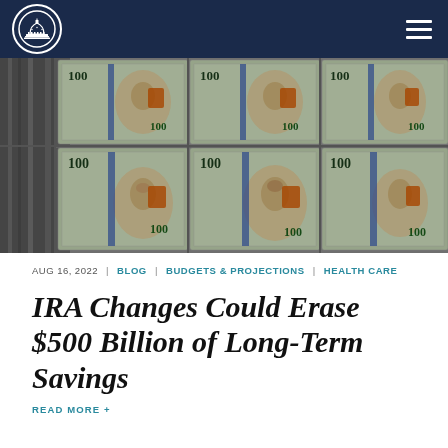[Figure (photo): Close-up photograph of $100 US dollar bills being printed, showing multiple Benjamin Franklin portraits in blue/green/orange tones in a grid layout]
AUG 16, 2022  |  BLOG  |  BUDGETS & PROJECTIONS  |  HEALTH CARE
IRA Changes Could Erase $500 Billion of Long-Term Savings
READ MORE +